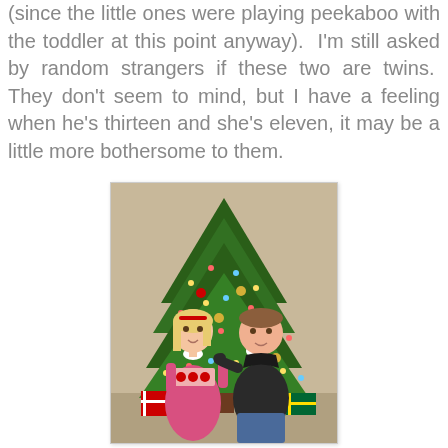(since the little ones were playing peekaboo with the toddler at this point anyway).  I'm still asked by random strangers if these two are twins.  They don't seem to mind, but I have a feeling when he's thirteen and she's eleven, it may be a little more bothersome to them.
[Figure (photo): A young girl in a pink dress with red floral smocking and a boy in a dark hoodie kneeling together in front of a decorated Christmas tree with wrapped presents visible at the base.]